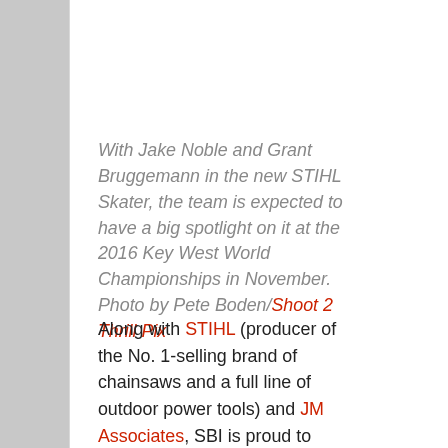With Jake Noble and Grant Bruggemann in the new STIHL Skater, the team is expected to have a big spotlight on it at the 2016 Key West World Championships in November. Photo by Pete Boden/Shoot 2 Thrill Pix
Along with STIHL (producer of the No. 1-selling brand of chainsaws and a full line of outdoor power tools) and JM Associates, SBI is proud to